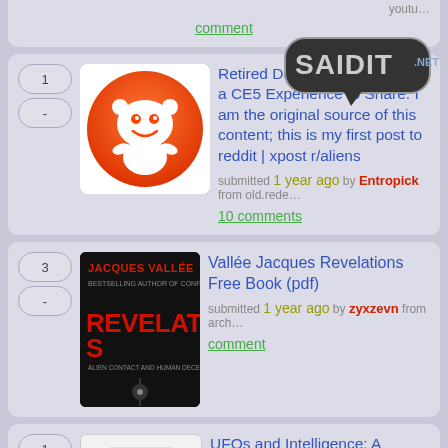youtu...
comment
[Figure (screenshot): Reddit alien logo orange circle with white alien face]
[Figure (logo): Saidit.net speech bubble logo watermark]
Retired Defense [Officer] with a CE5 Experience to Share. I am the original source of this content; this is my first post to reddit | xpost r/aliens
submitted 1 year ago by Entropick from old.rede...
10 comments
[Figure (photo): Jacques Vallee Revelations book cover - dark background with red title text]
Vallée Jacques Revelations Free Book (pdf)
submitted 1 year ago by zyxzevn from arch...
comment
[Figure (illustration): Document/file icon placeholder image]
UFOs and Intelligence: A Timeline. By George M. Eberhart | Full timeline of human recorded incidents
submitted 1 year ago by Entropick from